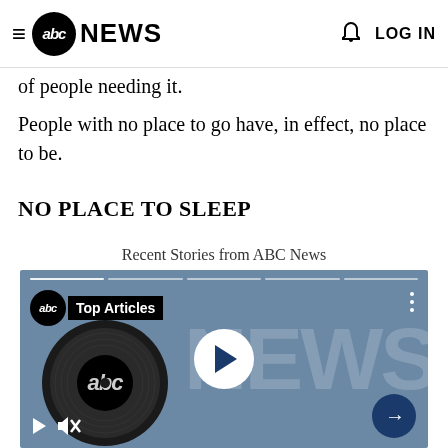abc NEWS | LOG IN
of people needing it.
People with no place to go have, in effect, no place to be.
NO PLACE TO SLEEP
Recent Stories from ABC News
[Figure (screenshot): ABC News video player showing abc Top Articles with play button and ABC NEWS branding on a blue-grey background]